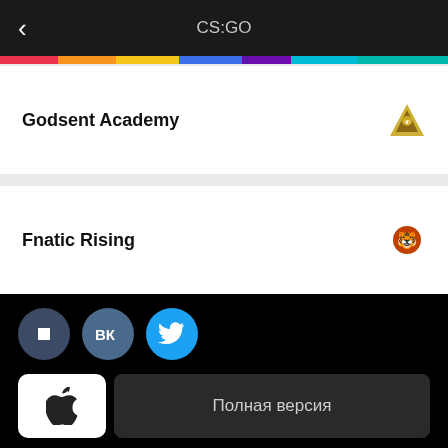CS:GO
Godsent Academy
Fnatic Rising
[Figure (screenshot): Social media buttons: dark icon button, VK button, Twitter bird button]
[Figure (screenshot): Apple App Store button and Полная версия (Full version) button]
О cyber.sports.ru
Документы